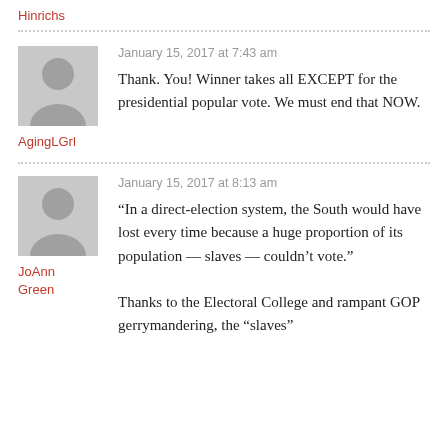Hinrichs
January 15, 2017 at 7:43 am
Thank. You! Winner takes all EXCEPT for the presidential popular vote. We must end that NOW.
AgingLGrl
January 15, 2017 at 8:13 am
“In a direct-election system, the South would have lost every time because a huge proportion of its population — slaves — couldn’t vote.”

Thanks to the Electoral College and rampant GOP gerrymandering, the “slaves”
JoAnn Green